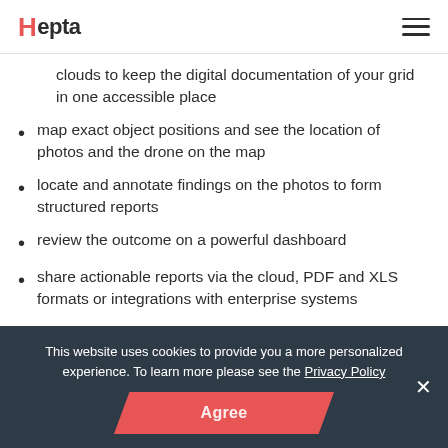Hepta
clouds to keep the digital documentation of your grid in one accessible place
map exact object positions and see the location of photos and the drone on the map
locate and annotate findings on the photos to form structured reports
review the outcome on a powerful dashboard
share actionable reports via the cloud, PDF and XLS formats or integrations with enterprise systems
Learn more
This website uses cookies to provide you a more personalized experience. To learn more please see the Privacy Policy
Agree